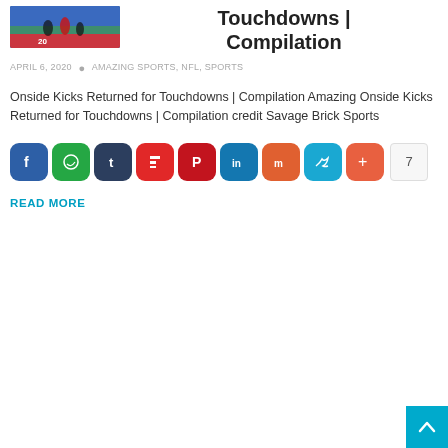[Figure (photo): Thumbnail image of an NFL football game with players on the field]
Touchdowns | Compilation
APRIL 6, 2020 • AMAZING SPORTS, NFL, SPORTS
Onside Kicks Returned for Touchdowns | Compilation Amazing Onside Kicks Returned for Touchdowns | Compilation credit Savage Brick Sports
[Figure (infographic): Social share icons: Facebook, WhatsApp, Tumblr, Flipboard, Pinterest, LinkedIn, Mix, Twitter, More, share count 7]
READ MORE